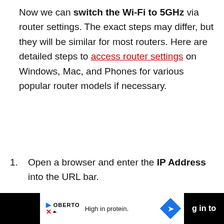Now we can switch the Wi-Fi to 5GHz via router settings. The exact steps may differ, but they will be similar for most routers. Here are detailed steps to access router settings on Windows, Mac, and Phones for various popular router models if necessary.
1. Open a browser and enter the IP Address into the URL bar.
2. [partial] ...g in to